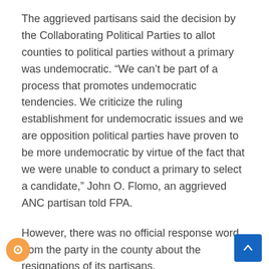The aggrieved partisans said the decision by the Collaborating Political Parties to allot counties to political parties without a primary was undemocratic. “We can’t be part of a process that promotes undemocratic tendencies. We criticize the ruling establishment for undemocratic issues and we are opposition political parties have proven to be more undemocratic by virtue of the fact that we were unable to conduct a primary to select a candidate,” John O. Flomo, an aggrieved ANC partisan told FPA.
However, there was no official response word from the party in the county about the resignations of its partisans.